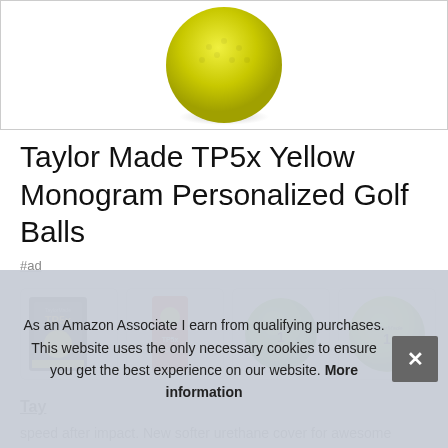[Figure (photo): Yellow golf ball product image on white background, partially visible at top of page]
Taylor Made TP5x Yellow Monogram Personalized Golf Balls
#ad
[Figure (photo): Four product thumbnail images showing TaylorMade TP5x yellow golf balls - box packaging, ball tube packaging, single yellow ball with TaylorMade logo, and close-up of yellow ball]
Tay...
speed after impact. New softer urethane cover for awesome
As an Amazon Associate I earn from qualifying purchases. This website uses the only necessary cookies to ensure you get the best experience on our website. More information